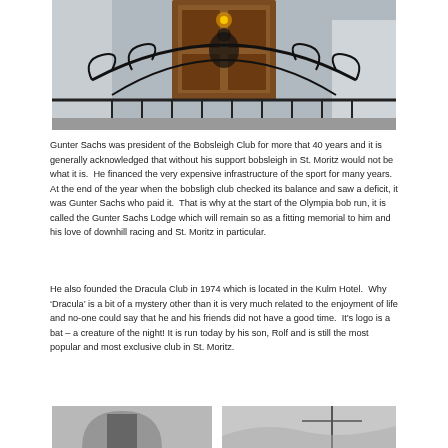[Figure (photo): Photograph of an ornate wrought iron balcony with a wooden door visible behind decorative metalwork, viewed from below.]
Gunter Sachs was president of the Bobsleigh Club for more that 40 years and it is generally acknowledged that without his support bobsleigh in St. Moritz would not be what it is.  He financed the very expensive infrastructure of the sport for many years.  At the end of the year when the bobsligh club checked its balance and saw a deficit, it was Gunter Sachs who paid it.  That is why at the start of the Olympia bob run, it is called the Gunter Sachs Lodge which will remain so as a fitting memorial to him and his love of downhill racing and St. Moritz in particular.
He also founded the Dracula Club in 1974 which is located in the Kulm Hotel.  Why ‘Dracula’ is a bit of a mystery other than it is very much related to the enjoyment of life and no-one could say that he and his friends did not have a good time.  It’s logo is a bat – a creature of the night! It is run today by his son, Rolf and is still the most popular and most exclusive club in St. Moritz.
[Figure (photo): Black and white photograph showing a building facade and what appears to be a nautical or outdoor scene.]